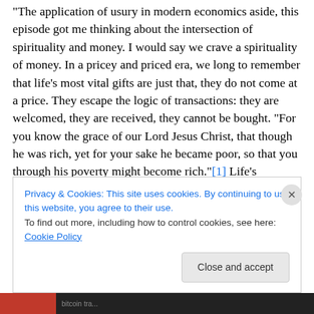The application of usury in modern economics aside, this episode got me thinking about the intersection of spirituality and money. I would say we crave a spirituality of money. In a pricey and priced era, we long to remember that life's most vital gifts are just that, they do not come at a price. They escape the logic of transactions: they are welcomed, they are received, they cannot be bought. “For you know the grace of our Lord Jesus Christ, that though he was rich, yet for your sake he became poor, so that you through his poverty might become rich.”[1] Life’s treasures come from someone who shed his riches for us, someone
Privacy & Cookies: This site uses cookies. By continuing to use this website, you agree to their use.
To find out more, including how to control cookies, see here: Cookie Policy
Close and accept